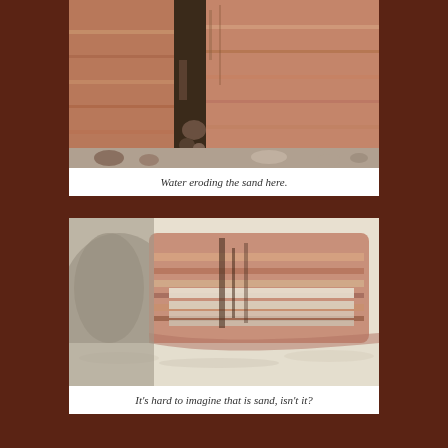[Figure (photo): Photograph of layered sandstone rock face with a vertical crack or erosion channel in the center, showing water erosion patterns in reddish-brown sedimentary rock layers with pebbles at the base.]
Water eroding the sand here.
[Figure (photo): Photograph of a large sandstone rock formation showing layered sedimentary strata with whitish sandy material at the base, demonstrating wind and water erosion of sand layers.]
It's hard to imagine that is sand, isn't it?